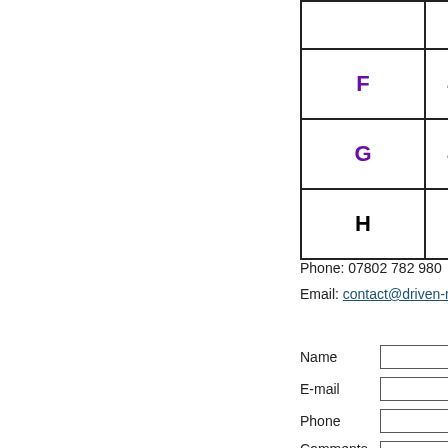|  |  |
| --- | --- |
| F | 4 hours |
| G | 4 hours |
| H | 5 hours |
Phone: 07802 782 980
Email: contact@driven-mad-traini...
Name
E-mail
Phone
Comments